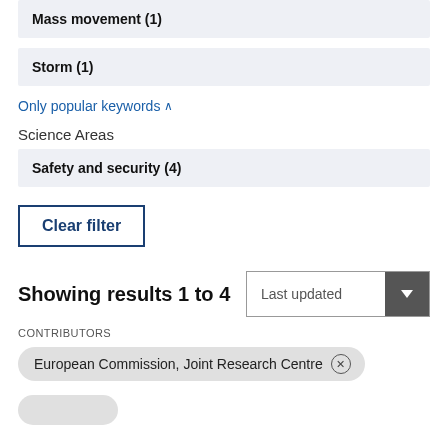Mass movement (1)
Storm (1)
Only popular keywords ∧
Science Areas
Safety and security (4)
Clear filter
Showing results 1 to 4
Last updated
CONTRIBUTORS
European Commission, Joint Research Centre ×